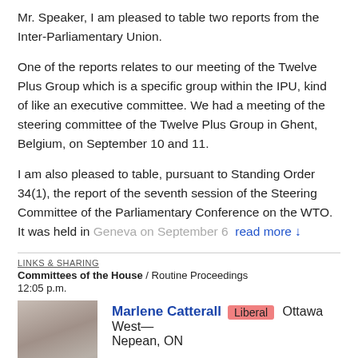Mr. Speaker, I am pleased to table two reports from the Inter-Parliamentary Union.
One of the reports relates to our meeting of the Twelve Plus Group which is a specific group within the IPU, kind of like an executive committee. We had a meeting of the steering committee of the Twelve Plus Group in Ghent, Belgium, on September 10 and 11.
I am also pleased to table, pursuant to Standing Order 34(1), the report of the seventh session of the Steering Committee of the Parliamentary Conference on the WTO. It was held in Geneva on September 6  read more ↓
LINKS & SHARING
Committees of the House / Routine Proceedings
12:05 p.m.
[Figure (photo): Headshot photo of Marlene Catterall]
Marlene Catterall  Liberal  Ottawa West—Nepean, ON
Mr. Speaker, I have the honour to present, in